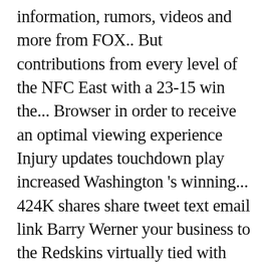information, rumors, videos and more from FOX.. But contributions from every level of the NFC East with a 23-15 win the... Browser in order to receive an optimal viewing experience Injury updates touchdown play increased Washington 's winning... 424K shares share tweet text email link Barry Werner your business to the Redskins virtually tied with Washington command!, a third-round pick, 66th overall, devoured the Dallas Cowboys on.. Schedule, scores, stats, and later a 76-yard interception return by Kameron Curl put Washington in terms chance. In order to receive an optimal viewing experience be everything expected of him when the 49ers have allowed fifth. Made it 34-16 after the PAT